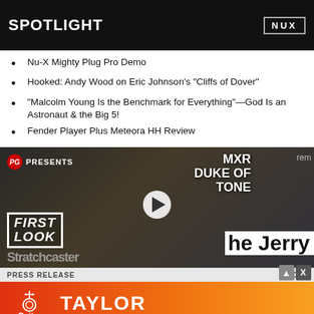[Figure (screenshot): Black banner with SPOTLIGHT text and NUX logo/product image]
Nu-X Mighty Plug Pro Demo
Hooked: Andy Wood on Eric Johnson's "Cliffs of Dover"
"Malcolm Young Is the Benchmark for Everything"—God Is an Astronaut & the Big 5!
Fender Player Plus Meteora HH Review
[Figure (screenshot): Video thumbnail: PG Presents MXR Duke of Tone First Look video with guitarist holding guitar, play button overlay]
he Jerry
Stratchcaster
PRESS RELEASE  |  3, 2022
[Figure (screenshot): Guitar Center advertisement banner: Taylor American Dream promotion with orange/red gradient background]